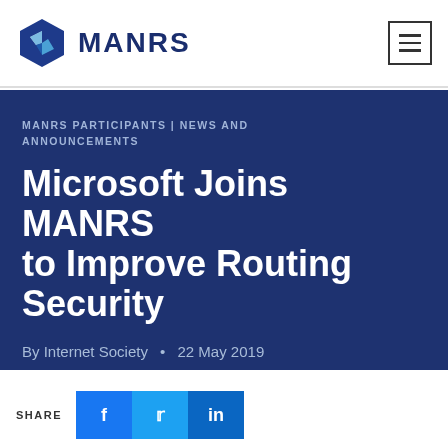MANRS
MANRS PARTICIPANTS | NEWS AND ANNOUNCEMENTS
Microsoft Joins MANRS to Improve Routing Security
By Internet Society • 22 May 2019
SHARE